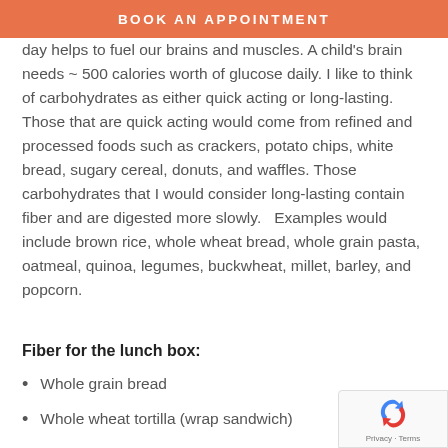BOOK AN APPOINTMENT
day helps to fuel our brains and muscles. A child's brain needs ~ 500 calories worth of glucose daily. I like to think of carbohydrates as either quick acting or long-lasting.  Those that are quick acting would come from refined and processed foods such as crackers, potato chips, white bread, sugary cereal, donuts, and waffles. Those carbohydrates that I would consider long-lasting contain fiber and are digested more slowly.   Examples would include brown rice, whole wheat bread, whole grain pasta, oatmeal, quinoa, legumes, buckwheat, millet, barley, and popcorn.
Fiber for the lunch box:
Whole grain bread
Whole wheat tortilla (wrap sandwich)